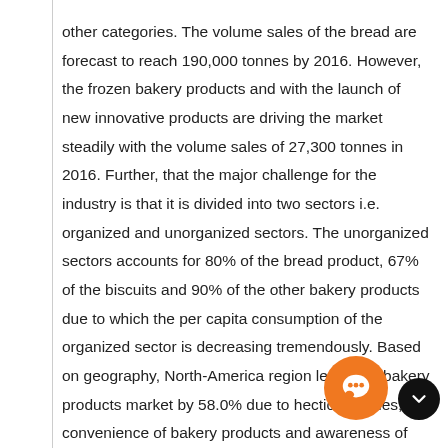other categories. The volume sales of the bread are forecast to reach 190,000 tonnes by 2016. However, the frozen bakery products and with the launch of new innovative products are driving the market steadily with the volume sales of 27,300 tonnes in 2016. Further, that the major challenge for the industry is that it is divided into two sectors i.e. organized and unorganized sectors. The unorganized sectors accounts for 80% of the bread product, 67% of the biscuits and 90% of the other bakery products due to which the per capita consumption of the organized sector is decreasing tremendously. Based on geography, North-America region leads the bakery products market by 58.0% due to hectic lifestyles, convenience of bakery products and awareness of the health issues. However, Asia Pacific bakery product market is increasing steadily with a growth rate of 21.0% over the forecast period. Countries such as China, Indian, Japan, Hong Kong and Singapore have the opportunity for bakery product manufacturers